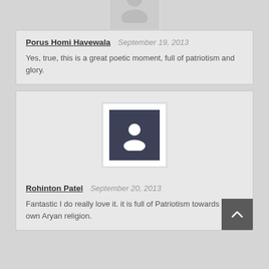[Figure (illustration): User avatar placeholder - grey silhouette, partially cropped at top]
Porus Homi Havewala  September 19, 2013
Yes, true, this is a great poetic moment, full of patriotism and glory.
[Figure (illustration): User avatar - dark navy square with white person silhouette, white border]
Rohinton Patel  September 20, 2013
Fantastic I do really love it. it is full of Patriotism towards our own Aryan religion.